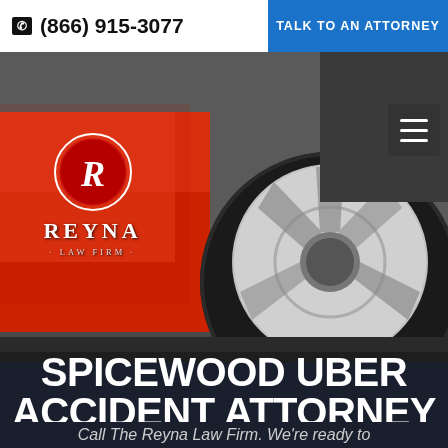☎ (866) 915-3077 | TALK TO AN ATTORNEY
[Figure (photo): Close-up photo of a car wheel/tire with flat tire damage, red car body visible on left side. Reyna Law Firm logo overlay on left with white oval R emblem.]
SPICEWOOD UBER ACCIDENT ATTORNEY
Call The Reyna Law Firm. We're ready to